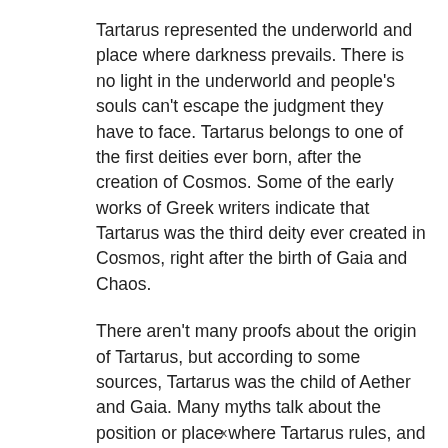Tartarus represented the underworld and place where darkness prevails. There is no light in the underworld and people's souls can't escape the judgment they have to face. Tartarus belongs to one of the first deities ever born, after the creation of Cosmos. Some of the early works of Greek writers indicate that Tartarus was the third deity ever created in Cosmos, right after the birth of Gaia and Chaos.
There aren't many proofs about the origin of Tartarus, but according to some sources, Tartarus was the child of Aether and Gaia. Many myths talk about the position or place where Tartarus rules, and explain it as the place so far away, that a bronze avil would have to fall from heaven for nine days to get to Earth and nine more days to reach the Tartarus.
x